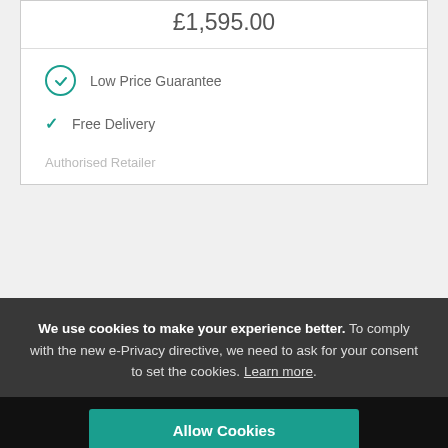£1,595.00
Low Price Guarantee
Free Delivery
We use cookies to make your experience better. To comply with the new e-Privacy directive, we need to ask for your consent to set the cookies. Learn more.
Allow Cookies
Bernina 540 Sewing Machine